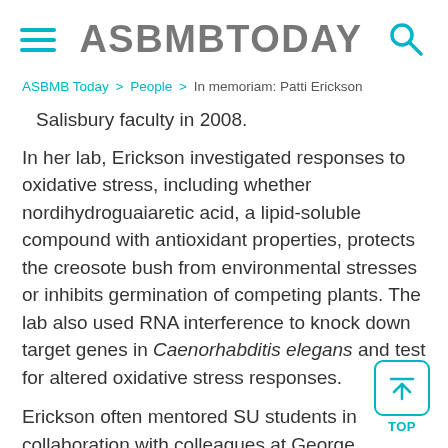ASBMBTODAY
ASBMB Today > People > In memoriam: Patti Erickson
Salisbury faculty in 2008.
In her lab, Erickson investigated responses to oxidative stress, including whether nordihydroguaiaretic acid, a lipid-soluble compound with antioxidant properties, protects the creosote bush from environmental stresses or inhibits germination of competing plants. The lab also used RNA interference to knock down target genes in Caenorhabditis elegans and test for altered oxidative stress responses.
Erickson often mentored SU students in collaboration with colleagues at George